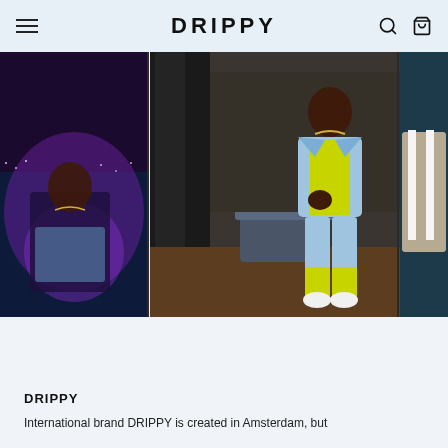DRIPPY
[Figure (photo): A three-panel photo collage showing fashion/streetwear looks: left panel shows a person in a pool at night with neon purple lighting and a chain necklace; center panel shows a person wearing a denim jacket over a yellow outfit with white sneakers in an interior setting; right panel shows a person in a white outfit partially visible.]
DRIPPY
International brand DRIPPY is created in Amsterdam, but